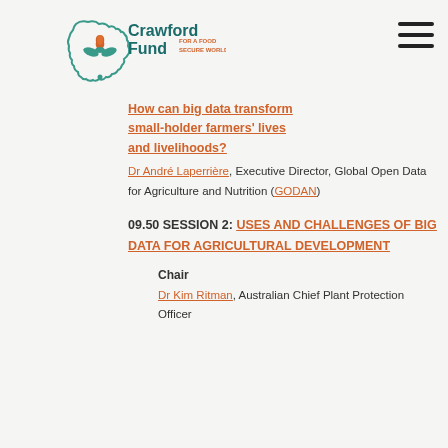[Figure (logo): Crawford Fund logo with Australia map outline and plant/flame icon, tagline: FOR A FOOD SECURE WORLD]
How can big data transform small-holder farmers' lives and livelihoods?
Dr André Laperrière, Executive Director, Global Open Data for Agriculture and Nutrition (GODAN)
09.50 SESSION 2: USES AND CHALLENGES OF BIG DATA FOR AGRICULTURAL DEVELOPMENT
Chair
Dr Kim Ritman, Australian Chief Plant Protection Officer